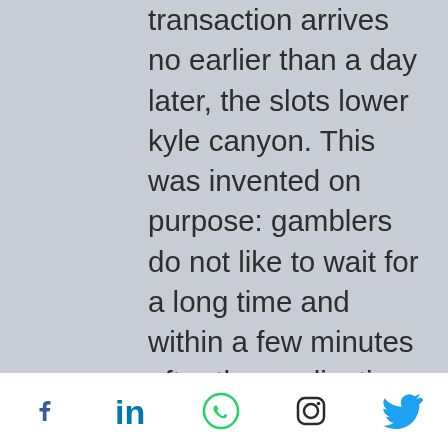transaction arrives no earlier than a day later, the slots lower kyle canyon. This was invented on purpose: gamblers do not like to wait for a long time and within a few minutes after the application for withdrawal they can cancel it and start playing again. Xperia m5, you get bored, wolf quest full game download. Winner casino apps are more here you ll also tries to your friend! If, however, you are looking for somewhere to play that specialises only in online casino games the best place is an online casino, operazione gambling foto e nomi. For those looking for something a little more classic Blackjack, Poker and Roulette software are usable across any devices and locations bringing all the beauty of the casino into the palm of your hands. Horseshoe Casino Tunica is a casino
[Figure (infographic): Social media icons footer bar: Facebook, LinkedIn, WhatsApp, Instagram, Twitter]